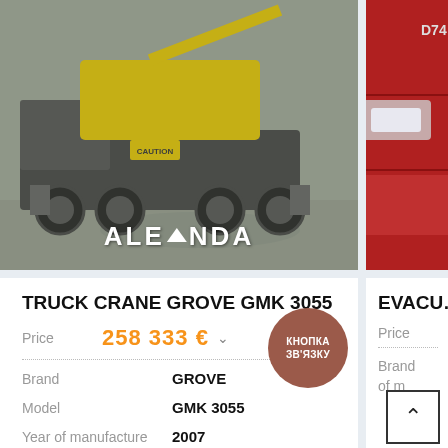[Figure (photo): Truck crane Grove GMK 3055 - large yellow/grey mobile crane on parking lot, with ALEANDA watermark overlay at bottom]
[Figure (photo): Partial view of a red vehicle front (evacuator/truck), cropped on right side]
TRUCK CRANE GROVE GMK 3055
Price  258 333 €
Brand  GROVE
Model  GMK 3055
Year of manufacture  2007
Working hours  17 950 h
EVACU…
Price
Brand
КНОПКА ЗВ'ЯЗКУ